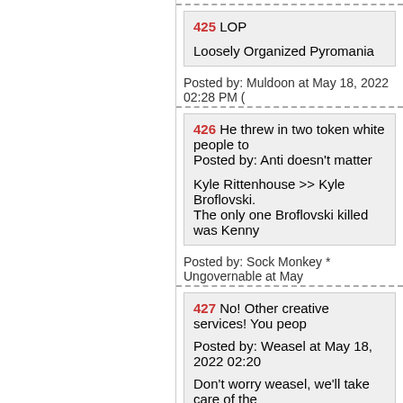425 LOP
Loosely Organized Pyromania
Posted by: Muldoon at May 18, 2022 02:28 PM
426 He threw in two token white people to...
Posted by: Anti doesn't matter

Kyle Rittenhouse >> Kyle Broflovski.
The only one Broflovski killed was Kenny
Posted by: Sock Monkey * Ungovernable at May
427 No! Other creative services! You peop...

Posted by: Weasel at May 18, 2022 02:20

Don't worry weasel, we'll take care of the
Posted by: AC/DC at May 18, 2022 02:28 PM (A
428 OTL...